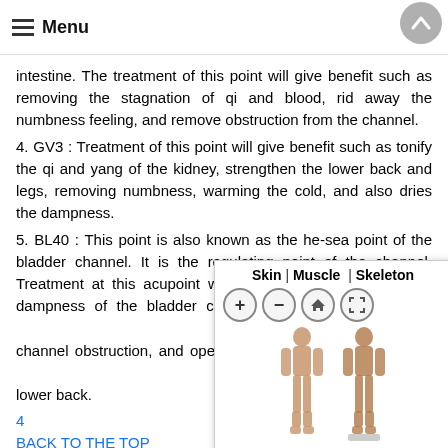Menu
intestine. The treatment of this point will give benefit such as removing the stagnation of qi and blood, rid away the numbness feeling, and remove obstruction from the channel.
4. GV3 : Treatment of this point will give benefit such as tonify the qi and yang of the kidney, strengthen the lower back and legs, removing numbness, warming the cold, and also dries the dampness.
5. BL40 : This point is also known as the he-sea point of the bladder channel. It is the regulating point of the channel. Treatment at this acupoint will bring benefit such removing dampness of the bladder channel, removing blood stasis, relieve channel obstruction, and open the channel to relieve pain of the lower back.
4
BACK TO THE TOP
Footnotes
1. What's a Herniated Disc, P...
[Figure (illustration): Anatomy viewer popup showing Skin | Muscle | Skeleton tabs with zoom controls and two human body figures (front and back views) in skin tone]